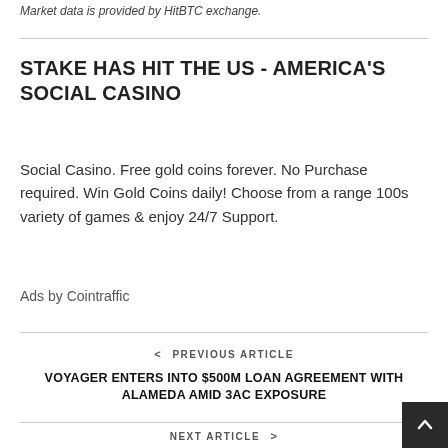Market data is provided by HitBTC exchange.
STAKE HAS HIT THE US - AMERICA'S SOCIAL CASINO
Social Casino. Free gold coins forever. No Purchase required. Win Gold Coins daily! Choose from a range 100s variety of games & enjoy 24/7 Support.
Ads by Cointraffic
< PREVIOUS ARTICLE
VOYAGER ENTERS INTO $500M LOAN AGREEMENT WITH ALAMEDA AMID 3AC EXPOSURE
NEXT ARTICLE >